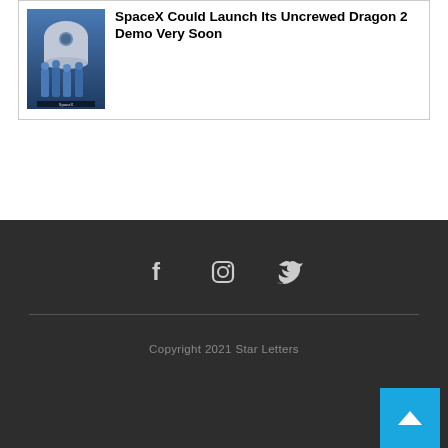[Figure (photo): Photo of astronauts in blue spacesuits standing in front of a spacecraft capsule]
SpaceX Could Launch Its Uncrewed Dragon 2 Demo Very Soon
Copyright 2021 Star Letters